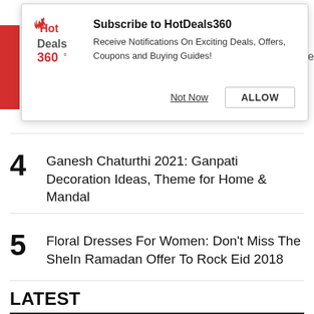[Figure (screenshot): HotDeals360 subscription notification popup with logo, title 'Subscribe to HotDeals360', description text, and two buttons: 'Not Now' and 'ALLOW']
4 Ganesh Chaturthi 2021: Ganpati Decoration Ideas, Theme for Home & Mandal
5 Floral Dresses For Women: Don't Miss The SheIn Ramadan Offer To Rock Eid 2018
LATEST
Wonderla Ticket Price, Entry Fees, Timing,